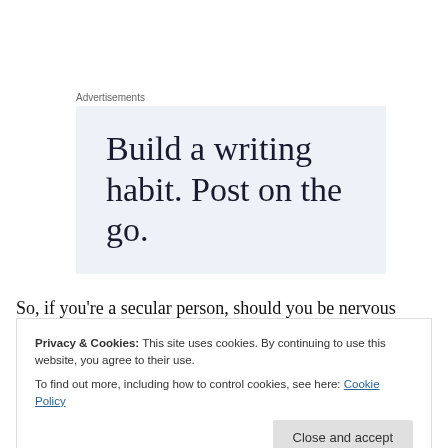Advertisements
[Figure (illustration): Advertisement banner with light blue-grey background containing the text 'Build a writing habit. Post on the go.']
So, if you're a secular person, should you be nervous
Privacy & Cookies: This site uses cookies. By continuing to use this website, you agree to their use.
To find out more, including how to control cookies, see here: Cookie Policy
dominance. But in a day-to-day sense, you don't need to